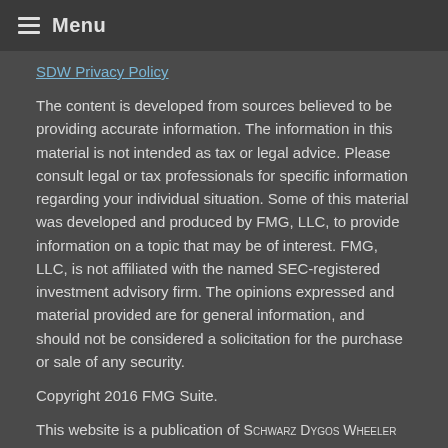Menu
SDW Privacy Policy
The content is developed from sources believed to be providing accurate information. The information in this material is not intended as tax or legal advice. Please consult legal or tax professionals for specific information regarding your individual situation. Some of this material was developed and produced by FMG, LLC, to provide information on a topic that may be of interest. FMG, LLC, is not affiliated with the named SEC-registered investment advisory firm. The opinions expressed and material provided are for general information, and should not be considered a solicitation for the purchase or sale of any security.
Copyright 2016 FMG Suite.
This website is a publication of Schwarz Dygos Wheeler Investment Advisors LLC. The firm is registered as an investment advisor with the SEC and only conducts business in states where it is properly registered or is excluded from